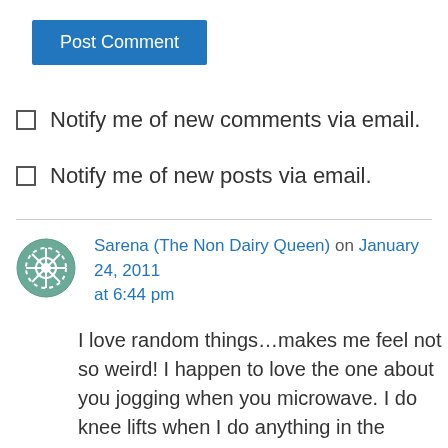[Figure (other): Blue 'Post Comment' button]
Notify me of new comments via email.
Notify me of new posts via email.
Sarena (The Non Dairy Queen) on January 24, 2011 at 6:44 pm
I love random things…makes me feel not so weird! I happen to love the one about you jogging when you microwave. I do knee lifts when I do anything in the kitchen. You know, like high marching. I can't do sit ups (do to know having stomach muscles), so I do that to strengthen my lower abs and the tops of my legs. Over the past few years, I actually have